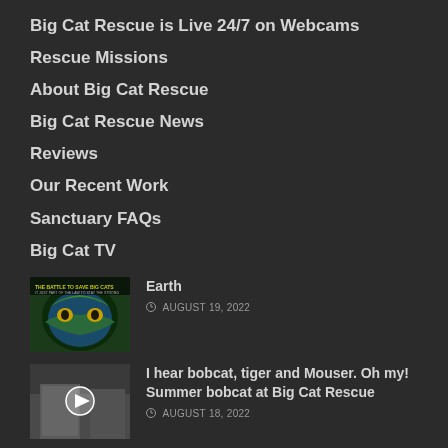Big Cat Rescue is Live 24/7 on Webcams
Rescue Missions
About Big Cat Rescue
Big Cat Rescue News
Reviews
Our Recent Work
Sanctuary FAQs
Big Cat TV
[Figure (photo): Colorful tiger illustration for Earth article thumbnail]
Earth
AUGUST 19, 2022
[Figure (photo): Night vision camera footage with play button overlay]
I hear bobcat, tiger and Mouser. Oh my! Summer bobcat at Big Cat Rescue
AUGUST 18, 2022
[Figure (photo): Outdoor cat enclosure footage with play button overlay]
Big Cat Rescue LIVE Q&A with Brittany at Big Cat Rescue 08 16 2022